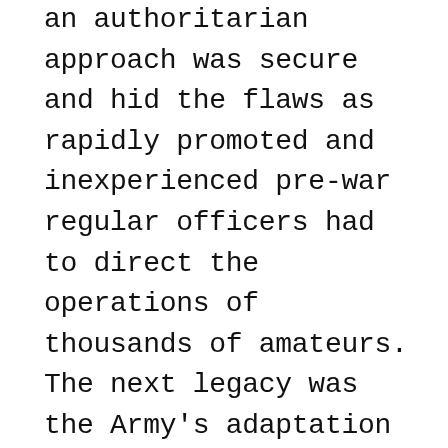an authoritarian approach was secure and hid the flaws as rapidly promoted and inexperienced pre-war regular officers had to direct the operations of thousands of amateurs. The next legacy was the Army's adaptation of a doctrine of intense supporting firepower from the French. The doctrine was refined and called fire and movement tactics, and relied on the simple process of one unit firing while another moves forward, supported by massed indirect fires. The tactics of fire and movement warfare are largely linear,